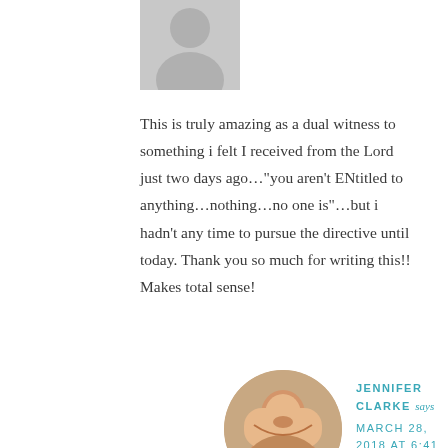[Figure (illustration): Gray silhouette avatar placeholder icon]
This is truly amazing as a dual witness to something i felt I received from the Lord just two days ago…"you aren't ENtitled to anything…nothing…no one is"…but i hadn't any time to pursue the directive until today. Thank you so much for writing this!! Makes total sense!
[Figure (photo): Photo of Jennifer Clarke, a woman with brown highlighted hair, smiling]
JENNIFER CLARKE says
MARCH 28, 2018 AT 6:41 AM